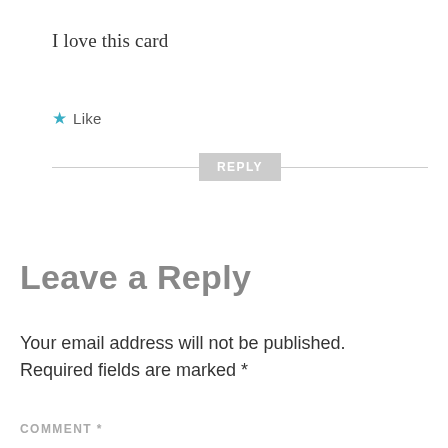I love this card
★ Like
[Figure (other): Horizontal divider line with a REPLY button centered on it]
Leave a Reply
Your email address will not be published. Required fields are marked *
COMMENT *